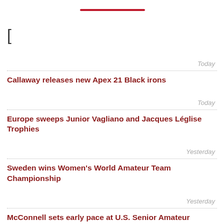Today — Callaway releases new Apex 21 Black irons
Today — Europe sweeps Junior Vagliano and Jacques Léglise Trophies
Yesterday — Sweden wins Women's World Amateur Team Championship
Yesterday — McConnell sets early pace at U.S. Senior Amateur